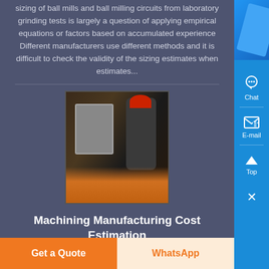sizing of ball mills and ball milling circuits from laboratory grinding tests is largely a question of applying empirical equations or factors based on accumulated experience Different manufacturers use different methods and it is difficult to check the validity of the sizing estimates when estimates...
[Figure (photo): A worker in industrial gear operating heavy milling machinery, with orange machinery components visible in background.]
Machining Manufacturing Cost Estimation Quotes and Rates
Machining Manufacturing Cost Estimation Quotes and Rates